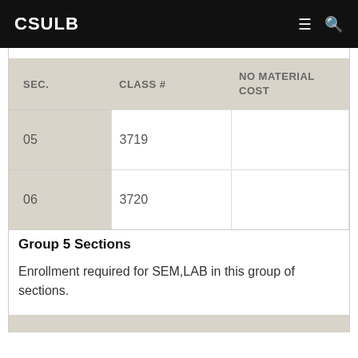CSULB
| SEC. | CLASS # | NO MATERIAL COST |
| --- | --- | --- |
| 05 | 3719 |  |
| 06 | 3720 |  |
Group 5 Sections
Enrollment required for SEM,LAB in this group of sections.